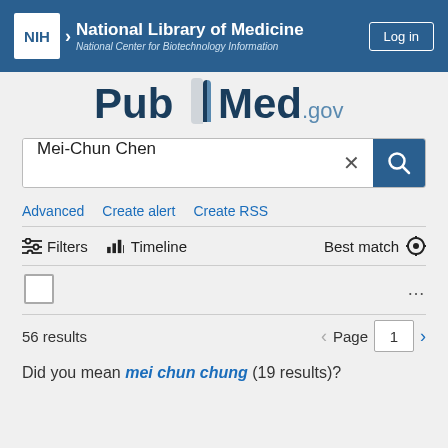NIH National Library of Medicine National Center for Biotechnology Information | Log in
[Figure (logo): PubMed.gov logo with stylized open book icon]
Mei-Chun Chen
Advanced   Create alert   Create RSS
Filters   Timeline   Best match
56 results   Page 1
Did you mean mei chun chung (19 results)?